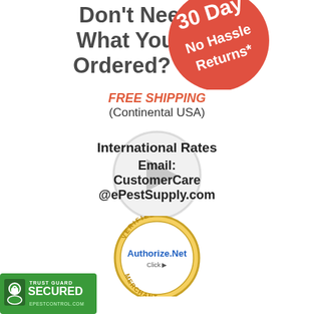[Figure (illustration): Partial heading text 'Don't Need 30 Day What You No Hassle Ordered? Returns*' with a red circular badge on the right side]
FREE SHIPPING
(Continental USA)
[Figure (illustration): Gray semi-transparent circle (video play button overlay) behind the International Rates text]
International Rates
Email: CustomerCare
@ePestSupply.com
[Figure (logo): Authorize.Net Verified Merchant Click badge - gold seal with blue text]
[Figure (logo): Trust Guard Secured badge - green shield with lock icon, text: TRUST GUARD SECURED EPESTCONTROL.COM]